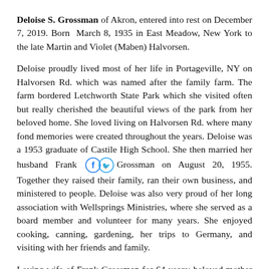Deloise S. Grossman of Akron, entered into rest on December 7, 2019. Born  March 8, 1935 in East Meadow, New York to the late Martin and Violet (Maben) Halvorsen.
Deloise proudly lived most of her life in Portageville, NY on Halvorsen Rd. which was named after the family farm. The farm bordered Letchworth State Park which she visited often but really cherished the beautiful views of the park from her beloved home. She loved living on Halvorsen Rd. where many fond memories were created throughout the years. Deloise was a 1953 graduate of Castile High School. She then married her husband Frank Grossman on August 20, 1955. Together they raised their family, ran their own business, and ministered to people. Deloise was also very proud of her long association with Wellsprings Ministries, where she served as a board member and volunteer for many years. She enjoyed cooking, canning, gardening, her trips to Germany, and visiting with her friends and family.
Loving wife of Frank Grossman for 64 years; beloved mother of Ruth D. Grossman (Tucson), Ron Grossman (Clarence